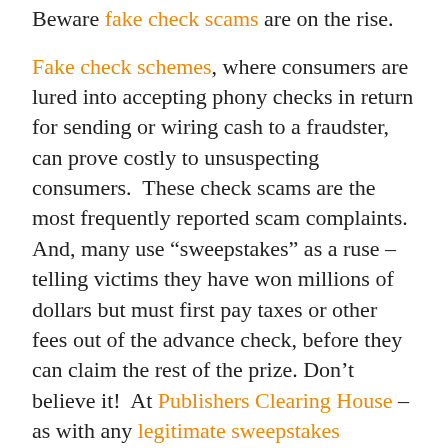Beware fake check scams are on the rise.
Fake check schemes, where consumers are lured into accepting phony checks in return for sending or wiring cash to a fraudster, can prove costly to unsuspecting consumers.  These check scams are the most frequently reported scam complaints.  And, many use "sweepstakes" as a ruse – telling victims they have won millions of dollars but must first pay taxes or other fees out of the advance check, before they can claim the rest of the prize. Don't believe it!  At Publishers Clearing House – as with any legitimate sweepstakes company – the winning is always free!
In these difficult economic times, Publishers